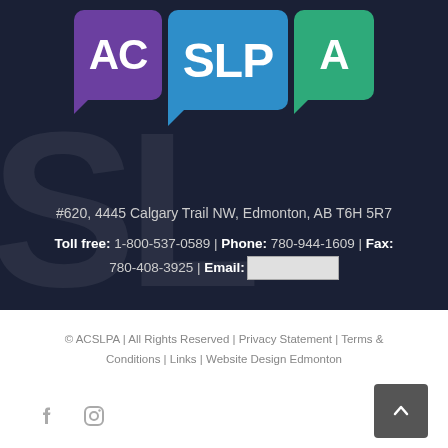[Figure (logo): ACSLPA logo with three speech bubble shapes: purple 'AC', blue 'SLP', green 'A', on dark background]
#620, 4445 Calgary Trail NW, Edmonton, AB T6H 5R7
Toll free: 1-800-537-0589 | Phone: 780-944-1609 | Fax: 780-408-3925 | Email: [email image]
© ACSLPA | All Rights Reserved | Privacy Statement | Terms & Conditions | Links | Website Design Edmonton